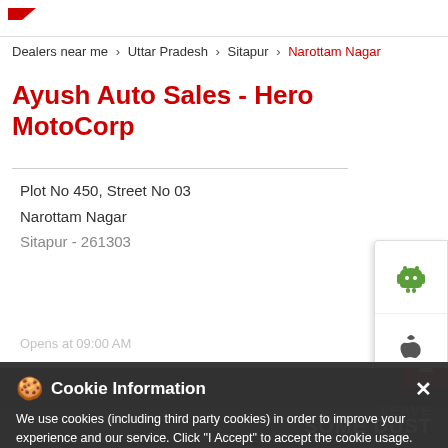Hero MotoCorp logo
Dealers near me > Uttar Pradesh > Sitapur > Narottam Nagar
Ayush Auto Sales - Hero MotoCorp
Plot No 450, Street No 03
Narottam Nagar
Sitapur - 261303
[Figure (screenshot): Android and Apple app download icons sidebar on the right]
Cookie Information
We use cookies (including third party cookies) in order to improve your experience and our service. Click "I Accept" to accept the cookie usage. You can refer to our Cookie Policy for cookie settings. Please refer to our Privacy Policy, Terms of Use, Disclaimer, Rules & Regulations and Data Collection Contract or more information on personal data usage.
[Figure (photo): Bottom section showing a motorcycle with text SOME DUST]